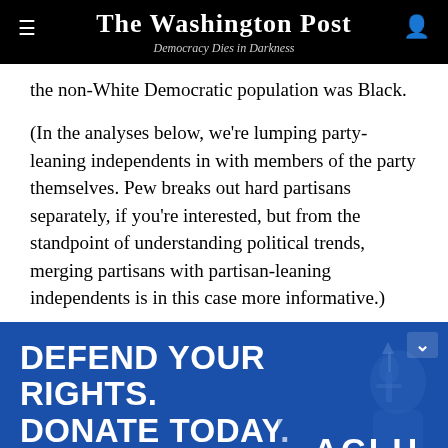The Washington Post — Democracy Dies in Darkness
the non-White Democratic population was Black.
(In the analyses below, we're lumping party-leaning independents in with members of the party themselves. Pew breaks out hard partisans separately, if you're interested, but from the standpoint of understanding political trends, merging partisans with partisan-leaning independents is in this case more informative.)
[Figure (other): ACLU advertisement banner: 'DEFEND YOUR RIGHTS. DONATE TODAY.' with a red 'MATCH MY GIFT' button and ACLU logo, blue background with Statue of Liberty silhouette.]